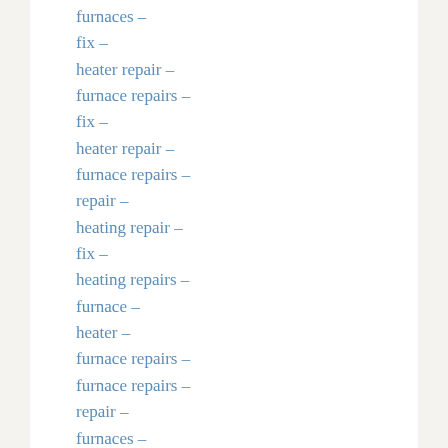furnaces –
fix –
heater repair –
furnace repairs –
fix –
heater repair –
furnace repairs –
repair –
heating repair –
fix –
heating repairs –
furnace –
heater –
furnace repairs –
furnace repairs –
repair –
furnaces –
furnace –
repair –